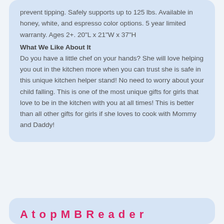prevent tipping. Safely supports up to 125 lbs. Available in honey, white, and espresso color options. 5 year limited warranty. Ages 2+. 20"L x 21"W x 37"H
What We Like About It
Do you have a little chef on your hands? She will love helping you out in the kitchen more when you can trust she is safe in this unique kitchen helper stand! No need to worry about your child falling. This is one of the most unique gifts for girls that love to be in the kitchen with you at all times! This is better than all other gifts for girls if she loves to cook with Mommy and Daddy!